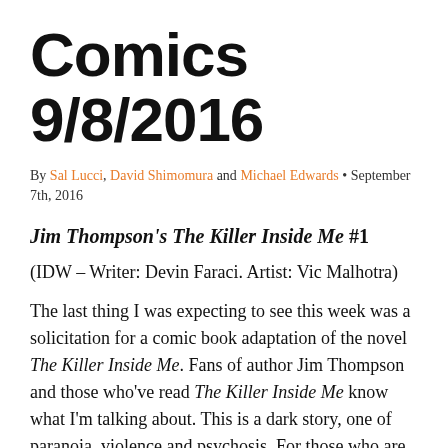Comics 9/8/2016
By Sal Lucci, David Shimomura and Michael Edwards • September 7th, 2016
Jim Thompson's The Killer Inside Me #1
(IDW – Writer: Devin Faraci. Artist: Vic Malhotra)
The last thing I was expecting to see this week was a solicitation for a comic book adaptation of the novel The Killer Inside Me. Fans of author Jim Thompson and those who've read The Killer Inside Me know what I'm talking about. This is a dark story, one of paranoia, violence and psychosis. For those who are